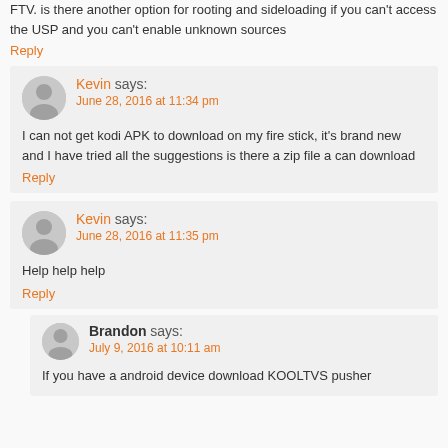FTV. is there another option for rooting and sideloading if you can't access the USP and you can't enable unknown sources
Reply
Kevin says:
June 28, 2016 at 11:34 pm
I can not get kodi APK to download on my fire stick, it's brand new and I have tried all the suggestions is there a zip file a can download
Reply
Kevin says:
June 28, 2016 at 11:35 pm
Help help help
Reply
Brandon says:
July 9, 2016 at 10:11 am
If you have a android device download KOOLTVS pusher